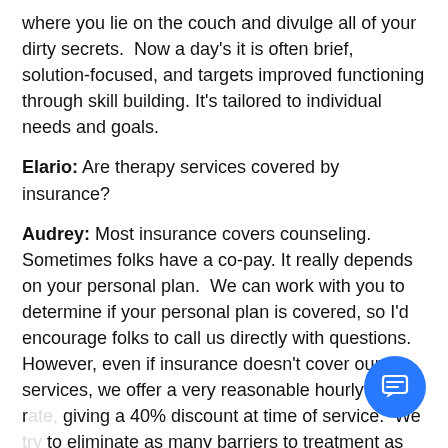where you lie on the couch and divulge all of your dirty secrets.  Now a day's it is often brief, solution-focused, and targets improved functioning through skill building. It's tailored to individual needs and goals.
Elario: Are therapy services covered by insurance?
Audrey: Most insurance covers counseling. Sometimes folks have a co-pay. It really depends on your personal plan.  We can work with you to determine if your personal plan is covered, so I'd encourage folks to call us directly with questions. However, even if insurance doesn't cover our services, we offer a very reasonable hourly r[ate,] giving a 40% discount at time of service.  We [try] to eliminate as many barriers to treatment as possible